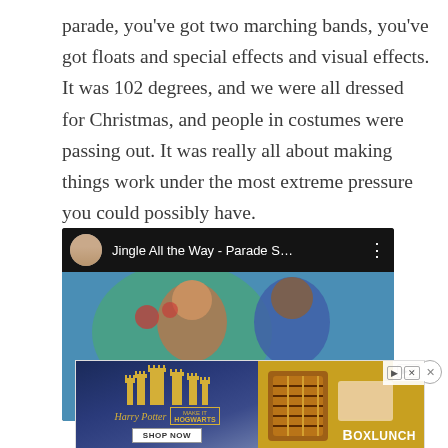parade, you've got two marching bands, you've got floats and special effects and visual effects. It was 102 degrees, and we were all dressed for Christmas, and people in costumes were passing out. It was really all about making things work under the most extreme pressure you could possibly have.
[Figure (screenshot): YouTube video embed showing 'Jingle All the Way - Parade S...' with a play button, two people visible in the thumbnail, and a user avatar in the top left corner.]
[Figure (screenshot): Advertisement banner for Harry Potter / Hogwarts merchandise from BoxLunch, showing a golden castle on a dark blue background on the left, and Harry Potter themed merchandise (checkered scarves, accessories) on a tan/brown background on the right. Includes 'SHOP NOW' button and 'BOXLUNCH' branding.]